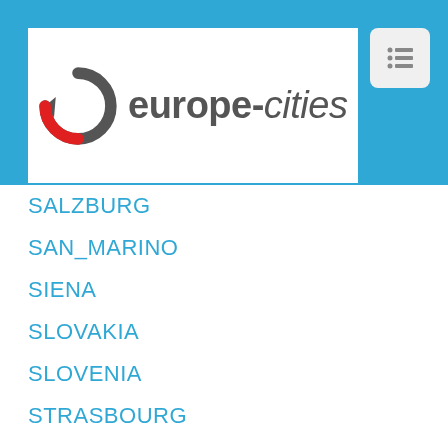europe-cities
SALZBURG
SAN_MARINO
SIENA
SLOVAKIA
SLOVENIA
STRASBOURG
SWEDEN
SWITZERLAND
THESSALONIKI
TOULOUSE